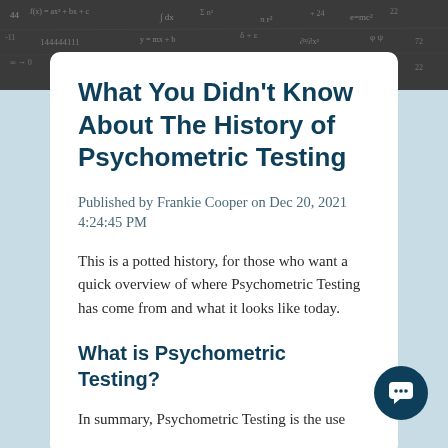[Figure (photo): Dark chalkboard background with faint chalk mathematical equations and notations]
What You Didn't Know About The History of Psychometric Testing
Published by Frankie Cooper on Dec 20, 2021 4:24:45 PM
This is a potted history, for those who want a quick overview of where Psychometric Testing has come from and what it looks like today.
What is Psychometric Testing?
In summary, Psychometric Testing is the use